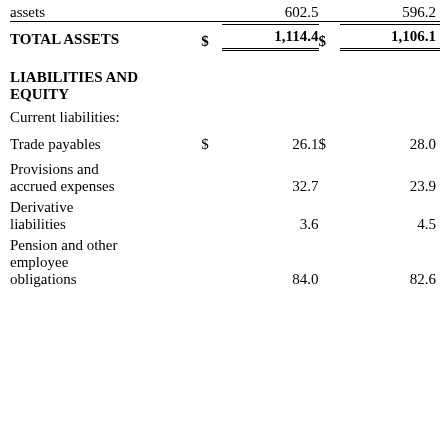|  | $ | Col1 | $ | Col2 |
| --- | --- | --- | --- | --- |
| assets |  | 602.5 |  | 596.2 |
| TOTAL ASSETS | $ | 1,114.4 | $ | 1,106.1 |
| LIABILITIES AND EQUITY |  |  |  |  |
| Current liabilities: |  |  |  |  |
| Trade payables | $ | 26.1 | $ | 28.0 |
| Provisions and accrued expenses |  | 32.7 |  | 23.9 |
| Derivative liabilities |  | 3.6 |  | 4.5 |
| Pension and other employee obligations |  | 84.0 |  | 82.6 |